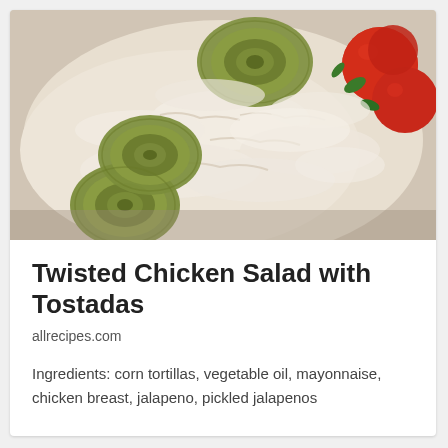[Figure (photo): Close-up photo of chicken salad with pickled jalapeno slices on top, garnished with cherry tomatoes and green herbs]
Twisted Chicken Salad with Tostadas
allrecipes.com
Ingredients: corn tortillas, vegetable oil, mayonnaise, chicken breast, jalapeno, pickled jalapenos